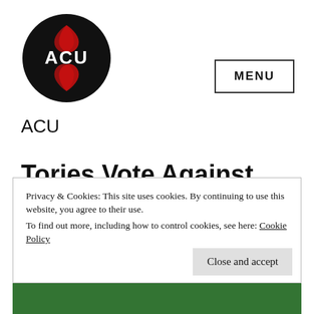[Figure (logo): ACU logo: black circle with red lizard/gecko figures and white ACU text in the center]
ACU
Tories Vote Against Free School Meals Extension
Privacy & Cookies: This site uses cookies. By continuing to use this website, you agree to their use.
To find out more, including how to control cookies, see here: Cookie Policy
Close and accept
[Figure (photo): Partial photo visible at the bottom showing people in front of a green background]